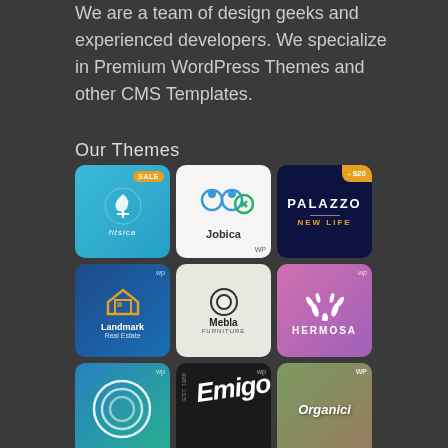We are a team of design geeks and experienced developers. We specialize in Premium WordPress Themes and other CMS Templates.
Our Themes
[Figure (screenshot): 3x4 grid of WordPress theme thumbnails including Fitsica, Jobica, Palazzo, Landmark Real Estate, Mebla Furniture, Hermosa, a wave/teal theme, Emigo, Organici, and partial bottom row tiles]